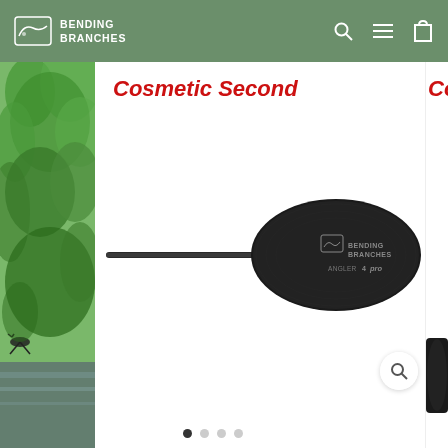Bending Branches
Cosmetic Second
[Figure (photo): Bending Branches Angler Pro kayak paddle with black carbon fiber blade and shaft, shown horizontally against white background. The blade features the Bending Branches Angler Pro logo in grey text.]
Co
[Figure (photo): Partial view of a second kayak paddle blade, partially visible at the right edge of the page.]
[Figure (photo): Nature scene on the left strip showing green trees, foliage, and water with reflections.]